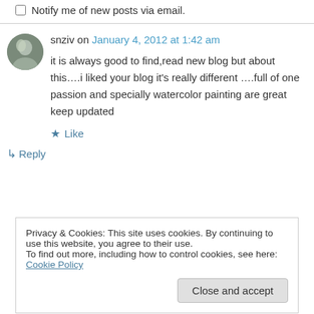Notify me of new posts via email.
snziv on January 4, 2012 at 1:42 am
it is always good to find,read new blog but about this….i liked your blog it's really different ….full of one passion and specially watercolor painting are great keep updated
Like
Reply
Privacy & Cookies: This site uses cookies. By continuing to use this website, you agree to their use.
To find out more, including how to control cookies, see here: Cookie Policy
Close and accept
watercolors!